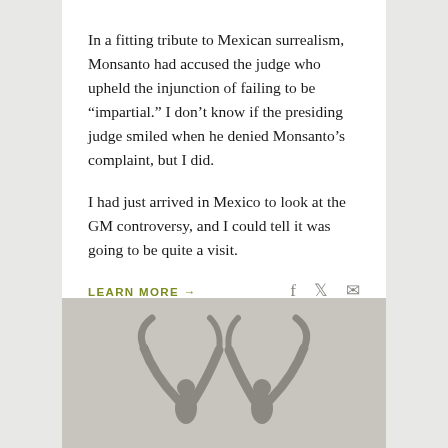In a fitting tribute to Mexican surrealism, Monsanto had accused the judge who upheld the injunction of failing to be “impartial.” I don’t know if the presiding judge smiled when he denied Monsanto’s complaint, but I did.
I had just arrived in Mexico to look at the GM controversy, and I could tell it was going to be quite a visit.
LEARN MORE →
[Figure (logo): Gray background panel with a stylized logo showing two abstract human figures with raised arms forming a V or wing shape, rendered in dark gray on light gray background.]